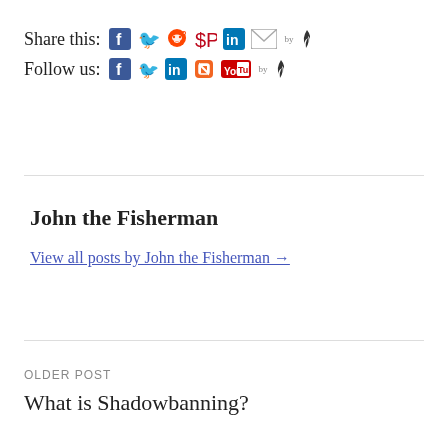Share this: [Facebook] [Twitter] [Reddit] [Pinterest] [LinkedIn] [Email] by
Follow us: [Facebook] [Twitter] [LinkedIn] [RSS] [YouTube] by
John the Fisherman
View all posts by John the Fisherman →
OLDER POST
What is Shadowbanning?